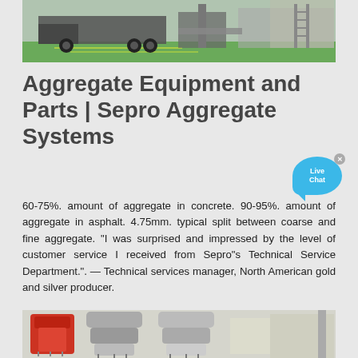[Figure (photo): Outdoor industrial scene showing large trucks or heavy equipment in a warehouse/yard with green floor markings]
Aggregate Equipment and Parts | Sepro Aggregate Systems
60-75%. amount of aggregate in concrete. 90-95%. amount of aggregate in asphalt. 4.75mm. typical split between coarse and fine aggregate. "I was surprised and impressed by the level of customer service I received from Sepro"s Technical Service Department.". — Technical services manager, North American gold and silver producer.
[Figure (photo): Industrial aggregate processing equipment — large cone crushers, one red and silver metallic units on springs in an outdoor facility]